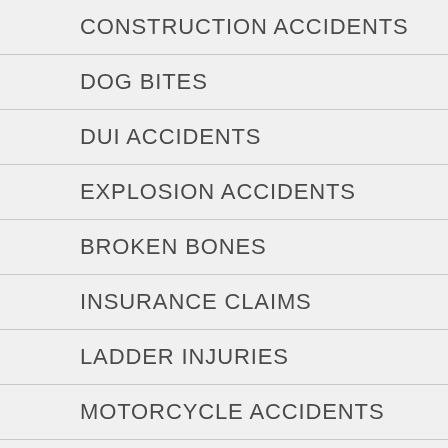CONSTRUCTION ACCIDENTS
DOG BITES
DUI ACCIDENTS
EXPLOSION ACCIDENTS
BROKEN BONES
INSURANCE CLAIMS
LADDER INJURIES
MOTORCYCLE ACCIDENTS
PEDESTRIAN ACCIDENTS